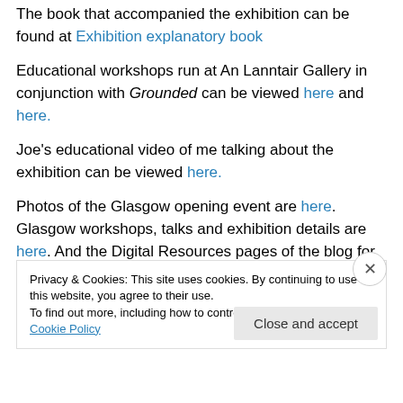The book that accompanied the exhibition can be found at Exhibition explanatory book
Educational workshops run at An Lanntair Gallery in conjunction with Grounded can be viewed here and here.
Joe's educational video of me talking about the exhibition can be viewed here.
Photos of the Glasgow opening event are here. Glasgow workshops, talks and exhibition details are here. And the Digital Resources pages of the blog for further information
Privacy & Cookies: This site uses cookies. By continuing to use this website, you agree to their use. To find out more, including how to control cookies, see here: Cookie Policy
Close and accept